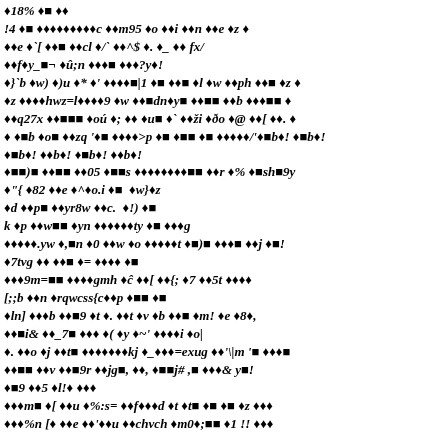◆18% ◆▮ ◆◆
!4 ◆▮ ◆◆◆◆◆◆◆◆◆c ◆◆m95 ◆o ◆◆i ◆◆n ◆◆e ◆z ◆
◆◆e ◆`[ ◆◆▮ ◆◆cl ◆/` ◆◆^$ ◆. ◆_ ◆◆ fx/
◆◆f◆y_▮¬ ◆û;n ◆◆◆▮ ◆◆◆?y◆!
◆}`b ◆w) ◆)u ◆* ◆' ◆◆◆◆▮|1 ◆▮ ◆◆▮ ◆l ◆w ◆◆ph ◆◆▮ ◆z ◆
◆z ◆◆◆◆hwz=l◆◆◆◆9 ◆w ◆◆▮dn◆y▮ ◆◆▮▮ ◆◆b ◆◆◆▮▮ ◆
◆◆q27x ◆◆▮▮▮ ◆oú ◆; ◆◆ ◆u▮ ◆` ◆◆ži ◆ðo ◆@ ◆◆[ ◆◆. ◆
◆ ◆▮b ◆o▮ ◆◆zq '◆▮ ◆◆◆◆>p ◆▮ ◆▮▮ ◆▮ ◆◆◆◆◆/'◆▮b◆! ◆▮b◆!
◆▮b◆! ◆◆b◆! ◆▮b◆! ◆◆b◆!
◆▮▮)▮ ◆◆▮▮ ◆◆05 ◆▮▮s ◆◆◆◆◆◆◆◆▮▮ ◆◆r ◆% ◆▮sh▮9y
◆"{  ◆82 ◆◆e ◆^◆o.i ◆▮  ◆w}◆z
◆d ◆◆p▮ ◆◆yr8w ◆◆c.  ◆!) ◆▮
k ◆p ◆◆w▮▮ ◆yn ◆◆◆◆◆◆ty ◆▮ ◆◆◆g
◆◆◆◆◆.yw ◆,▮n ◆0 ◆◆w ◆o ◆◆◆◆◆t ◆▮)▮ ◆◆◆▮ ◆◆j ◆▮!
◆7tvg ◆◆ ◆◆▮ ◆= ◆◆◆◆ ◆▮
◆◆◆9m=▮▮ ◆◆◆◆gmh ◆ĉ ◆◆[ ◆◆{; ◆7 ◆◆5t ◆◆◆◆
[;;b ◆◆n ◆rqwcss{c◆◆p ◆▮▮ ◆▮
◆ln] ◆◆◆b ◆◆▮9 ◆t ◆. ◆◆t ◆v ◆b ◆◆▮ ◆m! ◆e ◆8◆,
◆◆▮i& ◆◆_7▮ ◆◆◆ ◆( ◆y ◆~' ◆◆◆◆i ◆o|
◆. ◆◆o ◆j ◆◆t▮ ◆◆◆◆◆◆◆kj ◆_◆◆◆=exug ◆◆'\|m '▮ ◆◆◆▮
◆◆▮▮ ◆◆v ◆◆▮9r ◆◆jg▮, ◆◆, ◆▮▮j# ,▮ ◆◆◆& y▮!
◆▮9 ◆◆5 ◆l!◆ ◆◆◆
◆◆◆m▮ ◆[ ◆◆u ◆%:s= ◆◆f◆◆◆d ◆t ◆t▮ ◆▮ ◆▮ ◆z ◆◆◆
◆◆◆%n [◆ ◆◆e ◆◆'◆◆u ◆◆chvch ◆m0◆;▮▮ ◆1 !! ◆◆◆